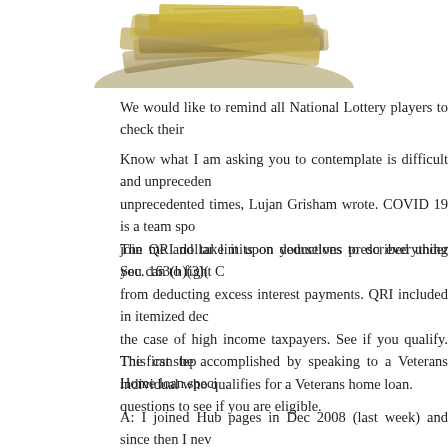[Figure (photo): Pile of US dollar bills (money) photographed from above, partially visible at the top of the page.]
We would like to remind all National Lottery players to check their
Know what I am asking you to contemplate is difficult and unpreceden unprecedented times, Lujan Grisham wrote. COVID 19 is a team spo join me and take it upon yourselves to do everything you can to fight C
The QRI dollar limits on deductions prescribed under Sec. 163(h)(3)( from deducting excess interest payments. QRI included in itemized dec the case of high income taxpayers. See if you qualify. The first step individual who qualifies for a Veterans home loan.
This can be accomplished by speaking to a Veterans Home loan speci questions to see if you are eligible.
A: I joined Hub pages in Dec 2008 (last week) and since then I nev accidental discovery. I was surfing on the net for some blog site